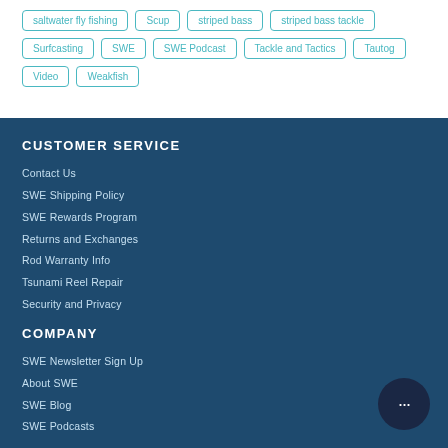saltwater fly fishing
Scup
striped bass
striped bass tackle
Surfcasting
SWE
SWE Podcast
Tackle and Tactics
Tautog
Video
Weakfish
CUSTOMER SERVICE
Contact Us
SWE Shipping Policy
SWE Rewards Program
Returns and Exchanges
Rod Warranty Info
Tsunami Reel Repair
Security and Privacy
COMPANY
SWE Newsletter Sign Up
About SWE
SWE Blog
SWE Podcasts